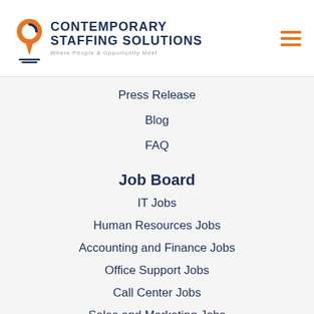Contemporary Staffing Solutions — Where People & Opportunity Meet
Press Release
Blog
FAQ
Job Board
IT Jobs
Human Resources Jobs
Accounting and Finance Jobs
Office Support Jobs
Call Center Jobs
Sales and Marketing Jobs